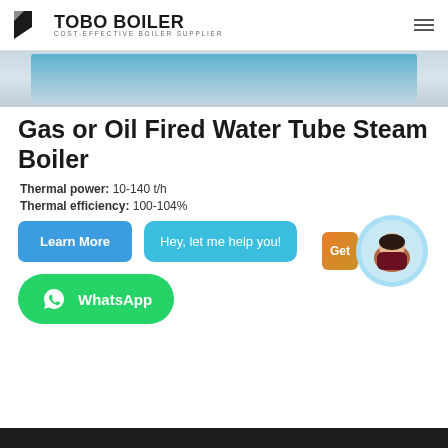TOBO BOILER — COST-EFFECTIVE BOILER SUPPLIER
[Figure (photo): Partial view of a gas or oil fired water tube steam boiler, top portion showing blue component against light gray background]
Gas or Oil Fired Water Tube Steam Boiler
Thermal power: 10-140 t/h
Thermal efficiency: 100-104%
Learn More
Hey, let me help you!
[Figure (photo): Chat assistant avatar — young woman smiling, circular profile picture with light blue background ring]
WhatsApp